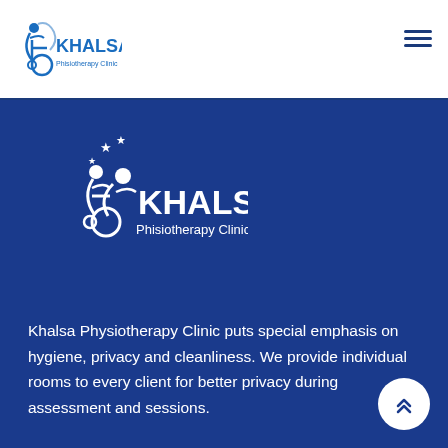[Figure (logo): Khalsa Physiotherapy Clinic logo - blue wheelchair user with KHALSA text in header]
[Figure (logo): Khalsa Physiotherapy Clinic white logo with stars on dark blue background]
Khalsa Physiotherapy Clinic puts special emphasis on hygiene, privacy and cleanliness. We provide individual rooms to every client for better privacy during assessment and sessions.